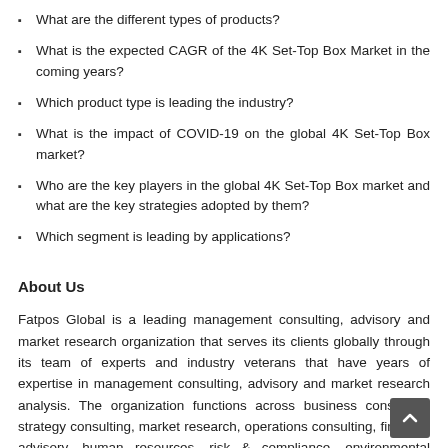What are the different types of products?
What is the expected CAGR of the 4K Set-Top Box Market in the coming years?
Which product type is leading the industry?
What is the impact of COVID-19 on the global 4K Set-Top Box market?
Who are the key players in the global 4K Set-Top Box market and what are the key strategies adopted by them?
Which segment is leading by applications?
About Us
Fatpos Global is a leading management consulting, advisory and market research organization that serves its clients globally through its team of experts and industry veterans that have years of expertise in management consulting, advisory and market research analysis. The organization functions across business consulting, strategy consulting, market research, operations consulting, financial advisory, human resources, risk & compliance, environmental consulting, software consulting, and sales consulting amongst others, and aims to aid businesses with bold decisions